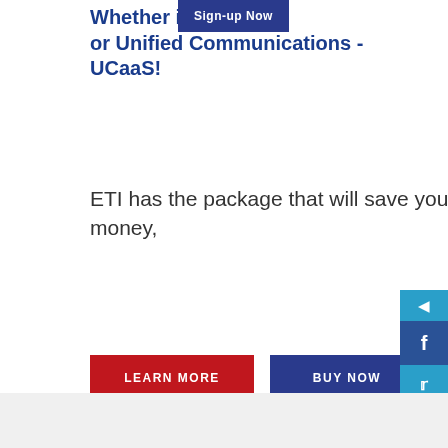[Figure (screenshot): Sign-up Now button overlay at top center]
Whether it's a or Unified Communications - UCaaS!
ETI has the package that will save you money,
[Figure (infographic): LEARN MORE red button and BUY NOW navy button]
[Figure (infographic): Social media share bar on right side with Facebook, Twitter, Google+, LinkedIn, Pinterest icons]
ETI- Connecting Your World with technology that saves you money and allows you to be more productive.